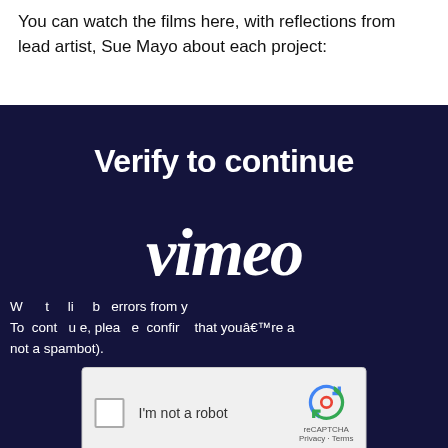You can watch the films here, with reflections from lead artist, Sue Mayo about each project:
[Figure (screenshot): Vimeo 'Verify to continue' reCAPTCHA verification screen with dark navy background, large bold 'Verify to continue' heading, italic 'vimeo' watermark logo overlaid, body text about preventing errors and confirming not a spambot, and a reCAPTCHA 'I'm not a robot' checkbox widget.]